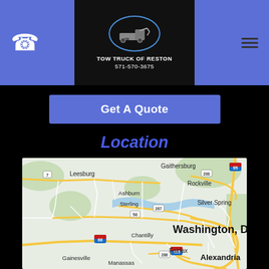Tow Truck of Reston | 571-570-3675
Get A Quote
Location
[Figure (map): Google Maps view of the Washington DC metro area showing Leesburg, Ashburn, Sterling, Chantilly, Gainesville, Manassas, Gaithersburg, Rockville, Silver Spring, Washington DC, Fairfax, and Alexandria with highway routes 7, 50, 66, 95, 200, 267, 286, 495 marked.]